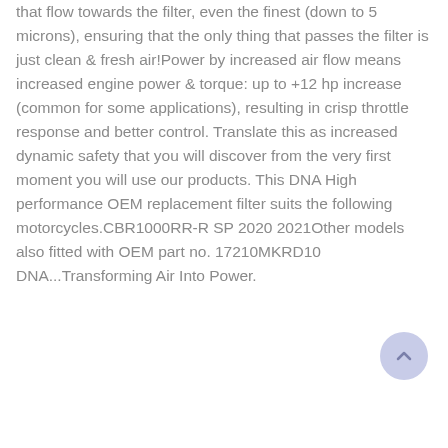that flow towards the filter, even the finest (down to 5 microns), ensuring that the only thing that passes the filter is just clean & fresh air!Power by increased air flow means increased engine power & torque: up to +12 hp increase (common for some applications), resulting in crisp throttle response and better control. Translate this as increased dynamic safety that you will discover from the very first moment you will use our products. This DNA High performance OEM replacement filter suits the following motorcycles.CBR1000RR-R SP 2020 2021Other models also fitted with OEM part no. 17210MKRD10 DNA...Transforming Air Into Power.